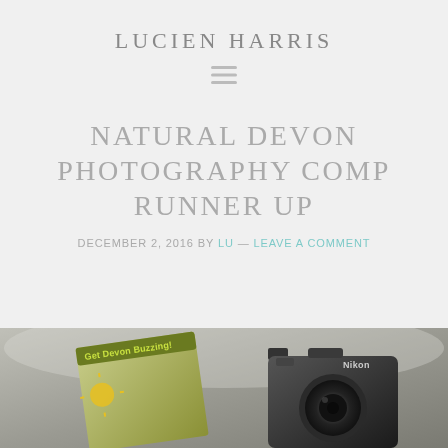LUCIEN HARRIS
[Figure (other): Hamburger menu icon (three horizontal lines)]
NATURAL DEVON PHOTOGRAPHY COMP RUNNER UP
DECEMBER 2, 2016 by LU — LEAVE A COMMENT
[Figure (photo): Photo showing a magazine (Get Devon Buzzing!) and a Nikon camera against a grey/misty background]